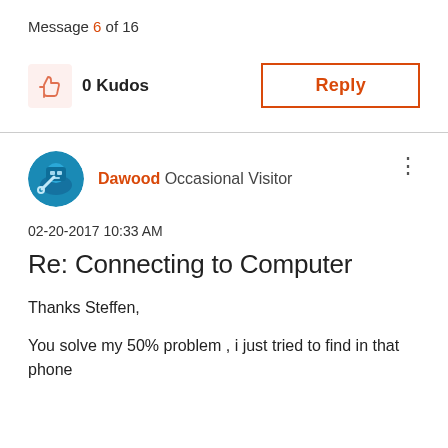Message 6 of 16
0 Kudos
Reply
Dawood Occasional Visitor
02-20-2017 10:33 AM
Re: Connecting to Computer
Thanks Steffen,
You solve my 50% problem , i just tried to find in that phone